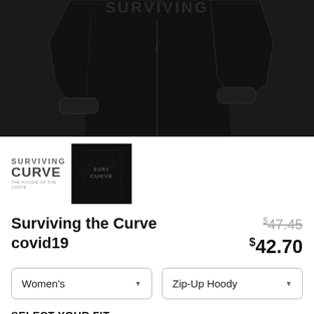[Figure (photo): Black zip-up hoodie product photo showing front and back views on white background, with 'Surviving the Curve' text on the back]
[Figure (photo): Two product thumbnails: left is a logo thumbnail showing 'SURVIVING CURVE' text in dark style; right shows a black hoodie back view with 'SURVIVING CURVE' text, bordered with black outline]
Surviving the Curve covid19
$47.45 (strikethrough original price) $42.70 (sale price)
Women's (dropdown) | Zip-Up Hoody (dropdown)
SELECT YOUR FIT